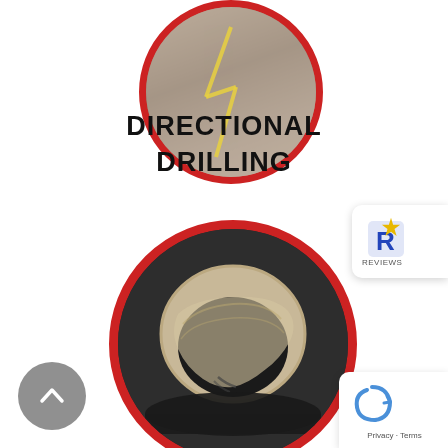[Figure (photo): Partial top view of a circular photo inside a red-bordered circle, showing an outdoor scene clipped at the top of the page]
DIRECTIONAL DRILLING
[Figure (photo): Close-up photo of a large pipe or tube end wrapped in beige/tan material, mounted on drilling equipment, inside a red-bordered circle]
[Figure (other): Reviews badge widget (partially visible) with star icon and REVIEWS label]
[Figure (other): Google reCAPTCHA badge with Privacy and Terms links]